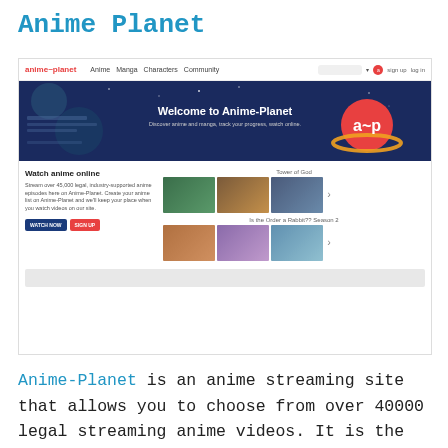Anime Planet
[Figure (screenshot): Screenshot of the Anime-Planet website showing the navigation bar with logo, Anime/Manga/Characters/Community links, a dark blue hero banner reading 'Welcome to Anime-Planet' with the site logo, a 'Watch anime online' section with thumbnail carousels for 'Tower of God' and 'Is the Order a Rabbit?? Season 2', and a gray footer bar.]
Anime-Planet is an anime streaming site that allows you to choose from over 40000 legal streaming anime videos. It is the world's first and most believed reference database that benefits you from getting ideas on what to watch next, setting up the